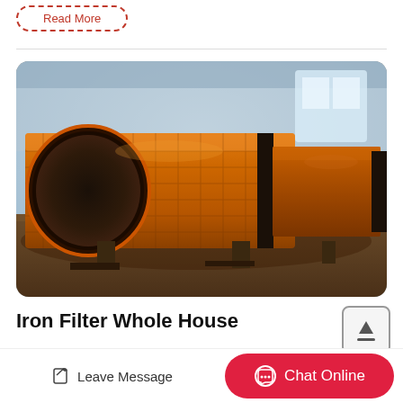Read More
[Figure (photo): Large industrial orange rotary drum dryer/filter machine in a factory warehouse setting. The cylindrical drum is orange with a dark hollow opening at the front, mounted horizontally on supports.]
Iron Filter Whole House
Leave Message
Chat Online